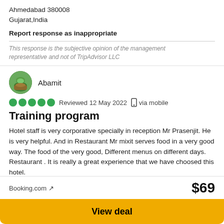Ahmedabad 380008
Gujarat,India
Report response as inappropriate
This response is the subjective opinion of the management representative and not of TripAdvisor LLC
Abamit
Reviewed 12 May 2022  via mobile
Training program
Hotel staff is very corporative specially in reception Mr Prasenjit. He is very helpful. And in Restaurant Mr mixit serves food in a very good way. The food of the very good, Different menus on different days. Restaurant . It is really a great experience that we have choosed this hotel.
Date of stay: May 2022
Booking.com ↗
$69
View deal